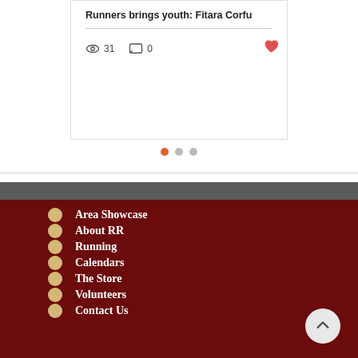Runners brings youth: Fitara Corfu
31 views · 0 comments
[Figure (infographic): Pagination dots: one orange active dot followed by two grey dots]
Area Showcase
About RR
Running
Calendars
The Store
Volunteers
Contact Us